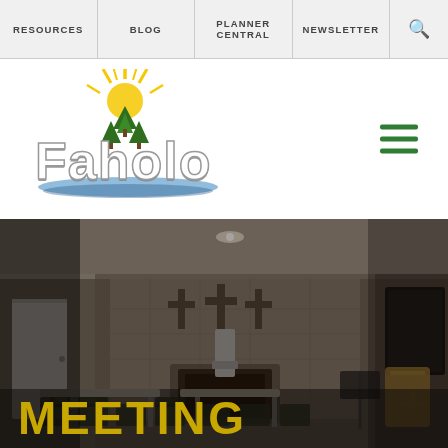RESOURCES | BLOG | PLANNER CENTRAL | NEWSLETTER | [search]
[Figure (logo): Faholo camp logo with sun, pine trees, and stylized text 'Faholo']
[Figure (photo): Interior of a meeting/conference room with chairs, tables, three crosses on the wall, a fireplace, a TV screen on the right, and a podium. Text overlay at bottom-left reads 'MEETING' in large gold letters.]
MEETING